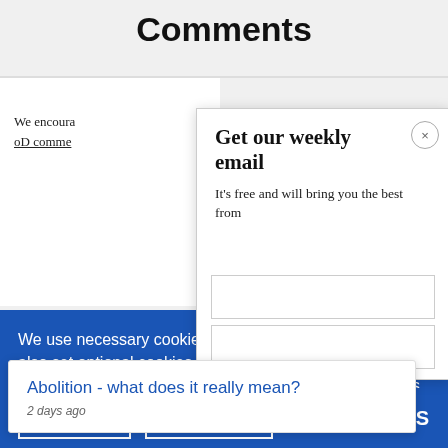Comments
We encourage… oD comme…
Get our weekly email
It's free and will bring you the best from
We use necessary cookies that allow our site to work. We also set optional cookies that help us improve our website. For more information about the types of cookies we use. READ OUR COOKIES POLICY HERE
COOKIE
ALLOW
Abolition - what does it really mean?
2 days ago
data.
Subscribe